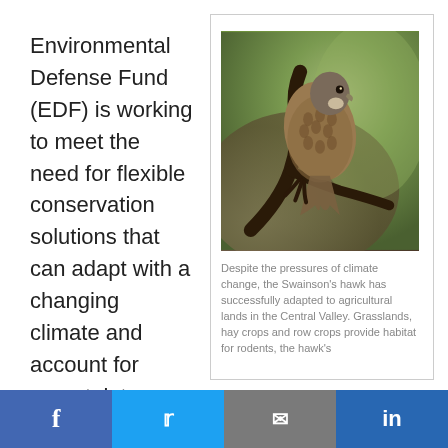Environmental Defense Fund (EDF) is working to meet the need for flexible conservation solutions that can adapt with a changing climate and account for uncertainty.
[Figure (photo): A Swainson's hawk perched on a dark twisted branch, with a blurred green/brown background. The bird has brown/grey mottled plumage and a pale throat patch.]
Despite the pressures of climate change, the Swainson's hawk has successfully adapted to agricultural lands in the Central Valley. Grasslands, hay crops and row crops provide habitat for rodents, the hawk's
The Central Valley
f  Twitter  Email  in